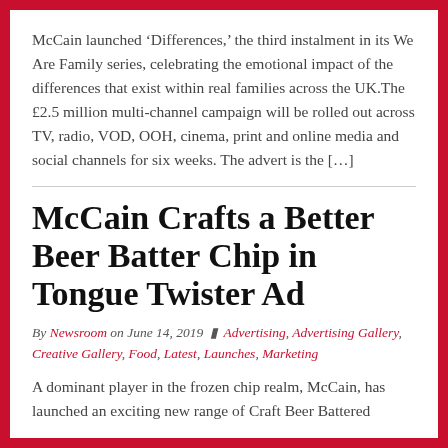McCain launched ‘Differences,’ the third instalment in its We Are Family series, celebrating the emotional impact of the differences that exist within real families across the UK.The £2.5 million multi-channel campaign will be rolled out across TV, radio, VOD, OOH, cinema, print and online media and social channels for six weeks. The advert is the […]
McCain Crafts a Better Beer Batter Chip in Tongue Twister Ad
By Newsroom on June 14, 2019 | Advertising, Advertising Gallery, Creative Gallery, Food, Latest, Launches, Marketing
A dominant player in the frozen chip realm, McCain, has launched an exciting new range of Craft Beer Battered